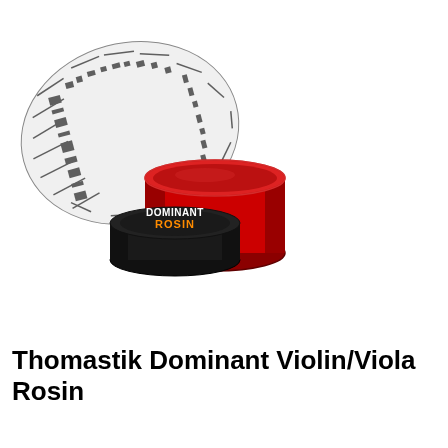[Figure (photo): Photo of Thomastik Dominant Violin/Viola Rosin product — an open red metal tin with a black lid labeled 'DOMINANT ROSIN' in white and orange text, shown alongside a circular paper liner with black and white pattern, on a white background.]
Thomastik Dominant Violin/Viola Rosin